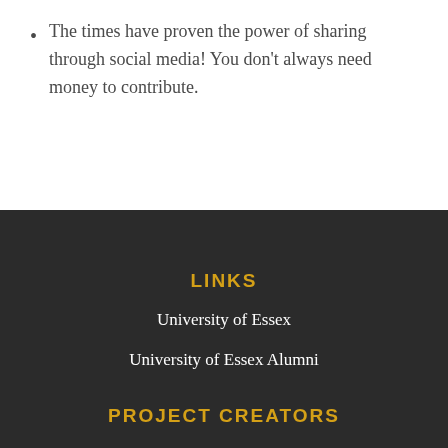The times have proven the power of sharing through social media! You don't always need money to contribute.
LINKS
University of Essex
University of Essex Alumni
PROJECT CREATORS